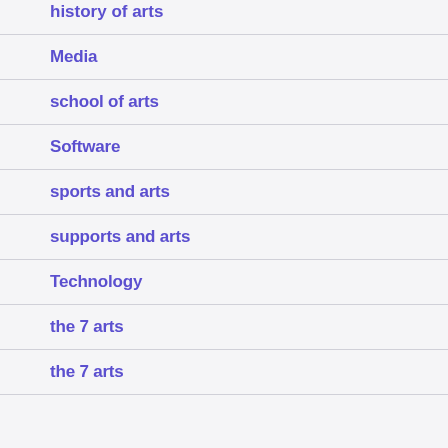history of arts
Media
school of arts
Software
sports and arts
supports and arts
Technology
the 7 arts
the 7 arts